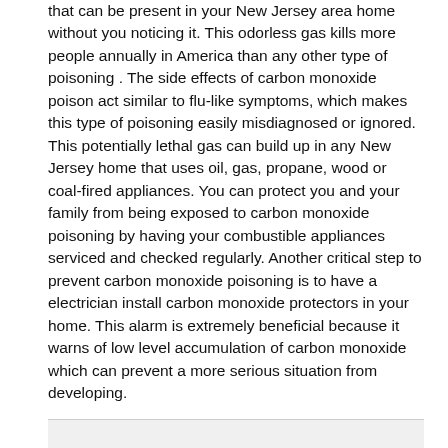that can be present in your New Jersey area home without you noticing it. This odorless gas kills more people annually in America than any other type of poisoning . The side effects of carbon monoxide poison act similar to flu-like symptoms, which makes this type of poisoning easily misdiagnosed or ignored. This potentially lethal gas can build up in any New Jersey home that uses oil, gas, propane, wood or coal-fired appliances. You can protect you and your family from being exposed to carbon monoxide poisoning by having your combustible appliances serviced and checked regularly. Another critical step to prevent carbon monoxide poisoning is to have a electrician install carbon monoxide protectors in your home. This alarm is extremely beneficial because it warns of low level accumulation of carbon monoxide which can prevent a more serious situation from developing.